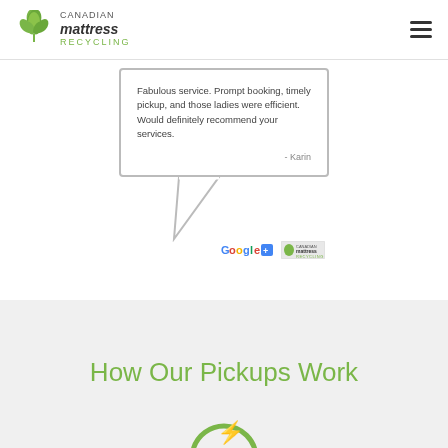Canadian Mattress Recycling
Fabulous service. Prompt booking, timely pickup, and those ladies were efficient. Would definitely recommend your services.
- Karin
How Our Pickups Work
[Figure (illustration): Green circle icon with lightning bolt or number 1 at the bottom of the page]